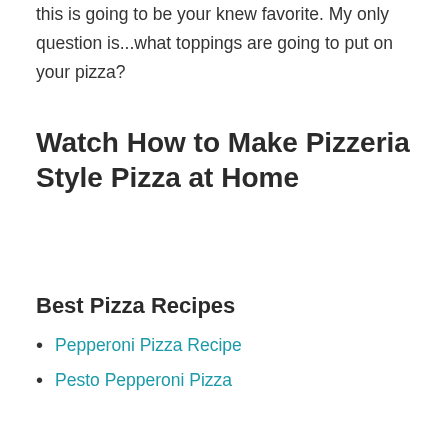this is going to be your knew favorite. My only question is...what toppings are going to put on your pizza?
Watch How to Make Pizzeria Style Pizza at Home
Best Pizza Recipes
Pepperoni Pizza Recipe
Pesto Pepperoni Pizza